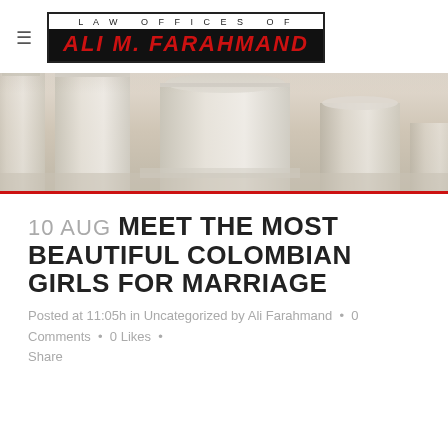LAW OFFICES OF ALI M. FARAHMAND
[Figure (photo): Close-up photo of white marble/stone classical columns, perspective view from low angle]
10 AUG MEET THE MOST BEAUTIFUL COLOMBIAN GIRLS FOR MARRIAGE
Posted at 11:05h in Uncategorized by Ali Farahmand • 0 Comments • 0 Likes • Share